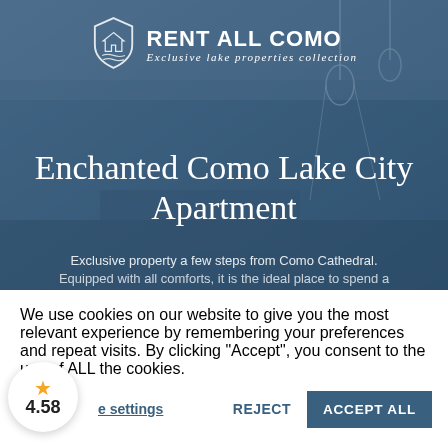[Figure (screenshot): Hero image of an apartment interior with blue overlay, showing a room with pendant lights]
RENT ALL COMO
Exclusive lake properties collection
Enchanted Como Lake City Apartment
Exclusive property a few steps from Como Cathedral. Equipped with all comforts, it is the ideal place to spend a
We use cookies on our website to give you the most relevant experience by remembering your preferences and repeat visits. By clicking “Accept”, you consent to the use of ALL the cookies.
e settings
REJECT
ACCEPT ALL
4.58